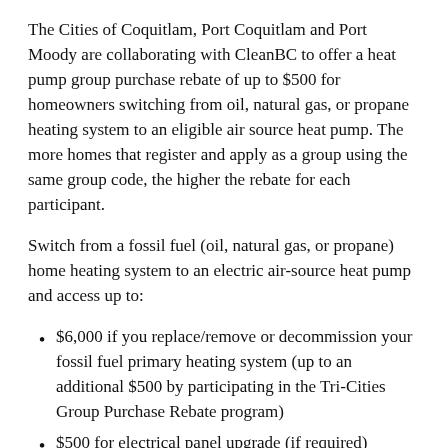The Cities of Coquitlam, Port Coquitlam and Port Moody are collaborating with CleanBC to offer a heat pump group purchase rebate of up to $500 for homeowners switching from oil, natural gas, or propane heating system to an eligible air source heat pump. The more homes that register and apply as a group using the same group code, the higher the rebate for each participant.
Switch from a fossil fuel (oil, natural gas, or propane) home heating system to an electric air-source heat pump and access up to:
$6,000 if you replace/remove or decommission your fossil fuel primary heating system (up to an additional $500 by participating in the Tri-Cities Group Purchase Rebate program)
$500 for electrical panel upgrade (if required)